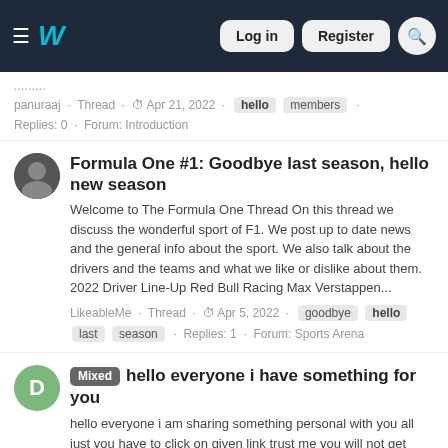W — Log in   Register   [search]
panuraaj · Thread · Apr 21, 2022 · hello   members · Replies: 0 · Forum: Introduction
Formula One #1: Goodbye last season, hello new season
Welcome to The Formula One Thread On this thread we discuss the wonderful sport of F1. We post up to date news and the general info about the sport. We also talk about the drivers and the teams and what we like or dislike about them. 2022 Driver Line-Up Red Bull Racing Max Verstappen...
LikeableMe · Thread · Apr 5, 2022 · goodbye   hello   last   season · Replies: 1 · Forum: Sports Arena
Mixed  hello everyone i have something for you
hello everyone i am sharing something personal with you all just you have to click on given link trust me you will not get anything like this anywhere else so just click on this link Real interesting videos